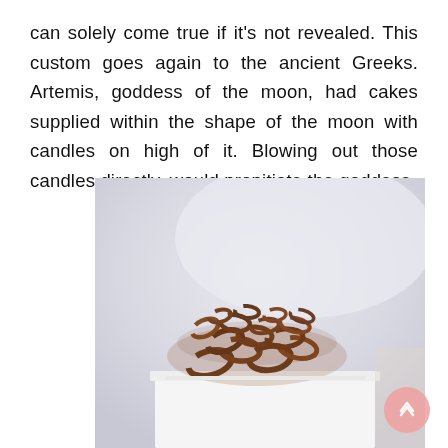can solely come true if it's not revealed. This custom goes again to the ancient Greeks. Artemis, goddess of the moon, had cakes supplied within the shape of the moon with candles on high of it. Blowing out those candles directly, would propitiate the goddess.
[Figure (photo): Close-up photograph of chocolate curls/shavings piled on top of a white cake or dessert, with a soft light grey blurred background.]